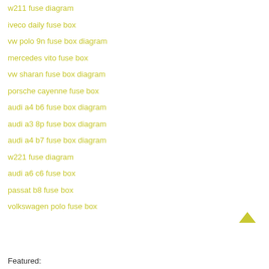w211 fuse diagram
iveco daily fuse box
vw polo 9n fuse box diagram
mercedes vito fuse box
vw sharan fuse box diagram
porsche cayenne fuse box
audi a4 b6 fuse box diagram
audi a3 8p fuse box diagram
audi a4 b7 fuse box diagram
w221 fuse diagram
audi a6 c6 fuse box
passat b8 fuse box
volkswagen polo fuse box
Featured: